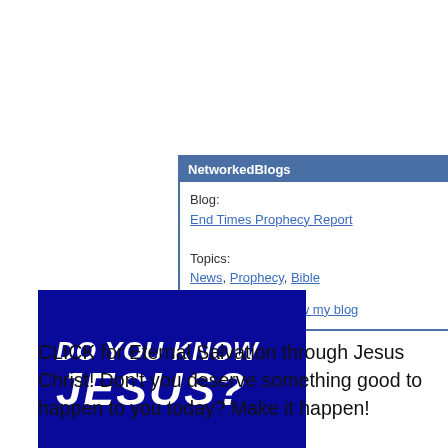[Figure (screenshot): NetworkedBlogs widget showing Blog: End Times Prophecy Report, Topics: News, Prophecy, Bible, and a Follow my blog link]
[Figure (illustration): Dark blue banner image with bold italic white text reading DO YOU KNOW JESUS?]
CLICK for Eternal Salvation through Jesus Christ! Don't you deserve something good to happen to you today? Make it happen!